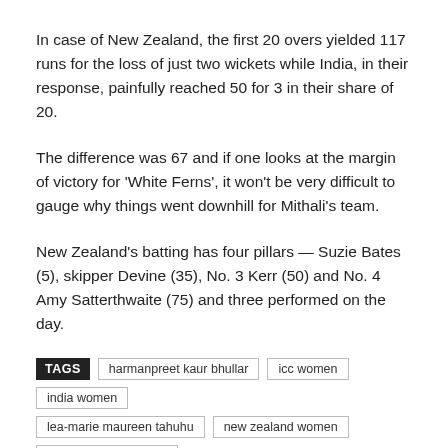In case of New Zealand, the first 20 overs yielded 117 runs for the loss of just two wickets while India, in their response, painfully reached 50 for 3 in their share of 20.
The difference was 67 and if one looks at the margin of victory for 'White Ferns', it won't be very difficult to gauge why things went downhill for Mithali's team.
New Zealand's batting has four pillars — Suzie Bates (5), skipper Devine (35), No. 3 Kerr (50) and No. 4 Amy Satterthwaite (75) and three performed on the day.
TAGS: harmanpreet kaur bhullar, icc women, india women, lea-marie maureen tahuhu, new zealand women, seddon park hamilton